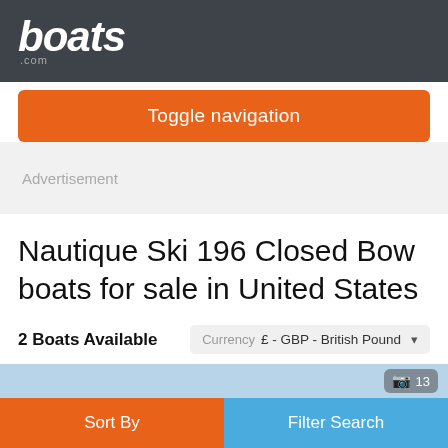boats .com
Toggle navigation
Advertisement
Nautique Ski 196 Closed Bow boats for sale in United States
2 Boats Available
Currency  £ - GBP - British Pound
[Figure (screenshot): Partial image strip with photo count badge showing 13]
Sort By
Filter Search